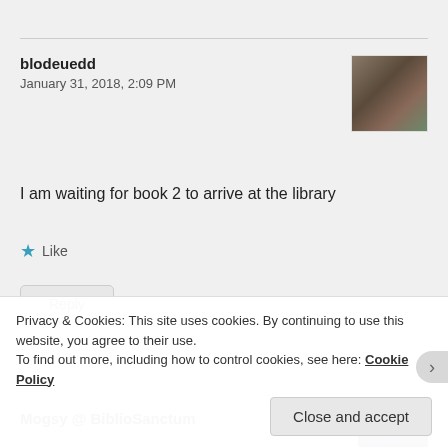blodeuedd
January 31, 2018, 2:09 PM
[Figure (photo): User avatar photo showing a person reading a book]
I am waiting for book 2 to arrive at the library
★ Like
Reply
Mogsy @ BiblioSanctum
[Figure (photo): User avatar photo]
Privacy & Cookies: This site uses cookies. By continuing to use this website, you agree to their use.
To find out more, including how to control cookies, see here: Cookie Policy
Close and accept